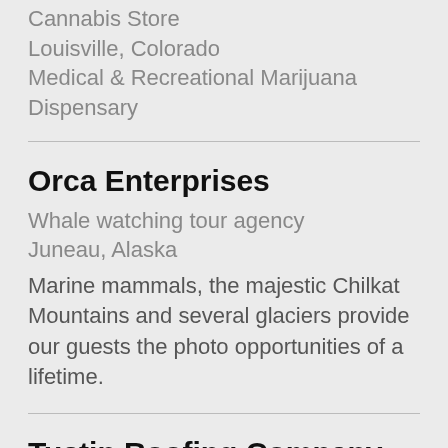Cannabis Store
Louisville, Colorado
Medical & Recreational Marijuana Dispensary
Orca Enterprises
Whale watching tour agency
Juneau, Alaska
Marine mammals, the majestic Chilkat Mountains and several glaciers provide our guests the photo opportunities of a lifetime.
Tustin Roofing Company